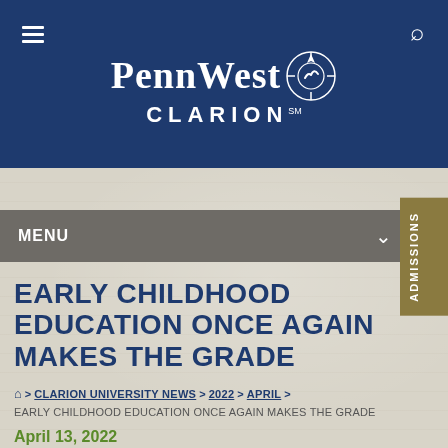PennWest CLARION
MENU
EARLY CHILDHOOD EDUCATION ONCE AGAIN MAKES THE GRADE
Home > CLARION UNIVERSITY NEWS > 2022 > APRIL > EARLY CHILDHOOD EDUCATION ONCE AGAIN MAKES THE GRADE
April 13, 2022